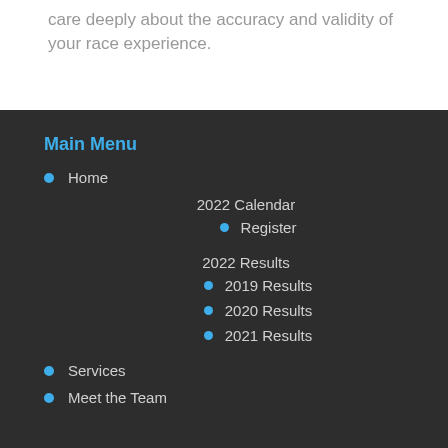care deeply about the accuracy and validity of your race experience.
Main Menu
Home
2022 Calendar
Register
2022 Results
2019 Results
2020 Results
2021 Results
Services
Meet the Team